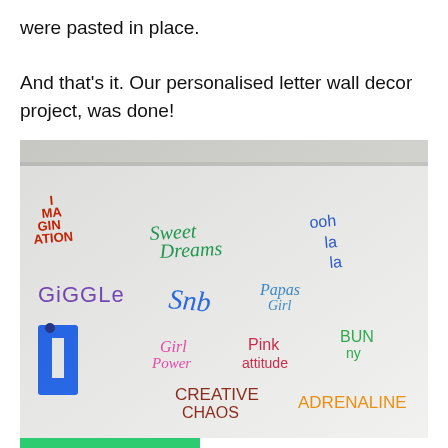were pasted in place.

And that's it. Our personalised letter wall decor project, was done!
[Figure (photo): Photo of a white wall decorated with colorful 3D foam letter word art including: IMAGINATION (red), Sweet Dreams (green), ooh la la (blue), GiGGLe (purple), SNB (blue), Papas Girl (blue), Girl Power (pink), Pink attitude (red), Bunny (green), CREATIVE CHAOS (dark red), ADRENALINE (orange). Blue letter 'h' shape on left side.]